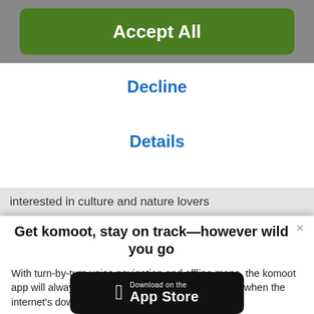Accept All
Decline
Details
interested in culture and nature lovers
Get komoot, stay on track—however wild you go
With turn-by-turn voice navigation and offline maps, the komoot app will always keep your adventure on track, even when the internet's down or unreliable.
[Figure (screenshot): Download on the App Store button (black rounded rectangle with Apple logo)]